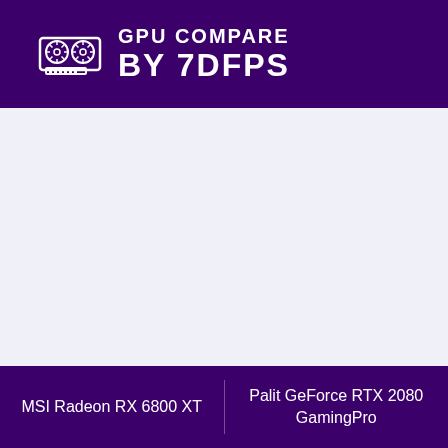GPU COMPARE BY 7DFPS
MSI Radeon RX 6800 XT | Palit GeForce RTX 2080 GamingPro